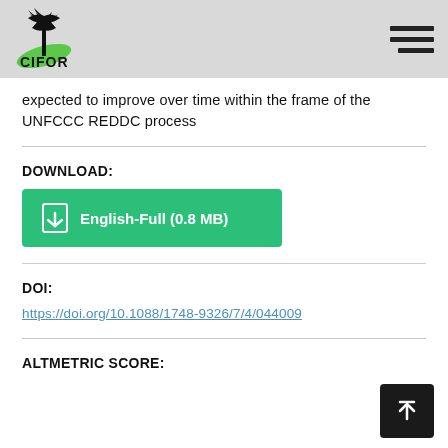CIFOR
expected to improve over time within the frame of the UNFCCC REDDC process
DOWNLOAD:
[Figure (other): Green download button labeled 'English-Full (0.8 MB)' with PDF icon]
DOI:
https://doi.org/10.1088/1748-9326/7/4/044009
ALTMETRIC SCORE: